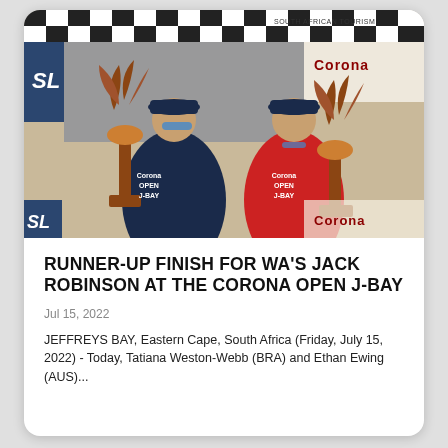[Figure (photo): Two male surfers standing on a podium holding large decorative trophy sculptures shaped like palm trees. Both wear Corona Open J-Bay branded jerseys. The background shows a checkered banner with WSL and Corona logos, South African Tourism branding. Left surfer wears dark wetsuit with sunglasses; right surfer wears red jersey.]
RUNNER-UP FINISH FOR WA'S JACK ROBINSON AT THE CORONA OPEN J-BAY
Jul 15, 2022
JEFFREYS BAY, Eastern Cape, South Africa (Friday, July 15, 2022) - Today, Tatiana Weston-Webb (BRA) and Ethan Ewing (AUS)...